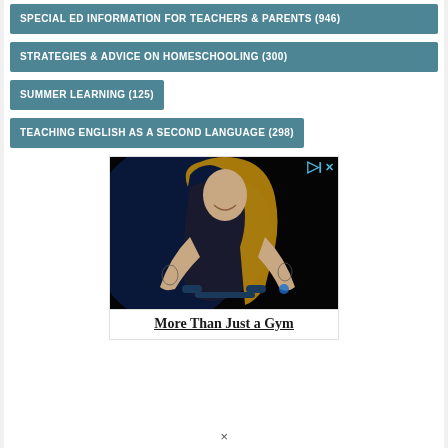SPECIAL ED INFORMATION FOR TEACHERS & PARENTS (946)
STRATEGIES & ADVICE ON HOMESCHOOLING (300)
SUMMER LEARNING (125)
TEACHING ENGLISH AS A SECOND LANGUAGE (298)
[Figure (photo): Advertisement showing a woman smiling on a stationary bike in a dark gym setting with blue lighting, with ad controls (play and close buttons) in top right corner]
More Than Just a Gym